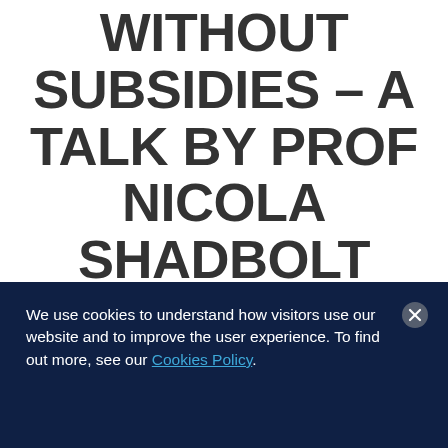WITHOUT SUBSIDIES – A TALK BY PROF NICOLA SHADBOLT
We use cookies to understand how visitors use our website and to improve the user experience. To find out more, see our Cookies Policy.